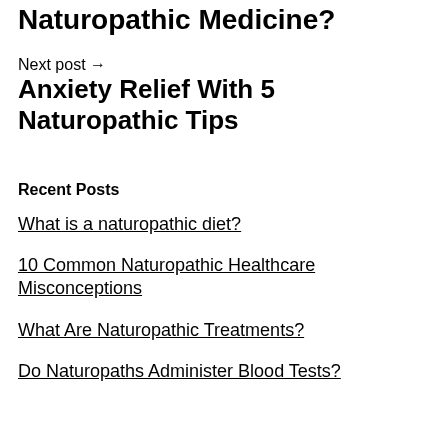Naturopathic Medicine?
Next post →
Anxiety Relief With 5 Naturopathic Tips
Recent Posts
What is a naturopathic diet?
10 Common Naturopathic Healthcare Misconceptions
What Are Naturopathic Treatments?
Do Naturopaths Administer Blood Tests?